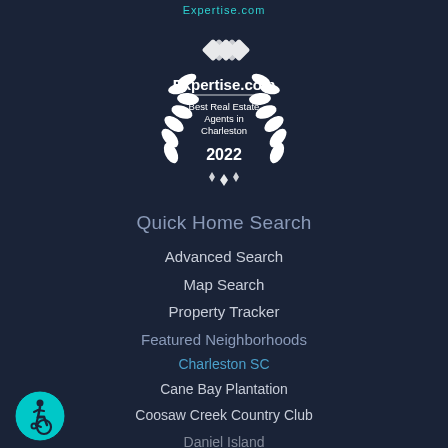Expertise.com
[Figure (logo): Expertise.com award badge - Best Real Estate Agents in Charleston 2022, white laurel wreath design with linked diamond logo on dark background]
Quick Home Search
Advanced Search
Map Search
Property Tracker
Featured Neighborhoods
Charleston SC
Cane Bay Plantation
Coosaw Creek Country Club
Daniel Island
[Figure (illustration): Accessibility icon - wheelchair user symbol in cyan circle, bottom left corner]